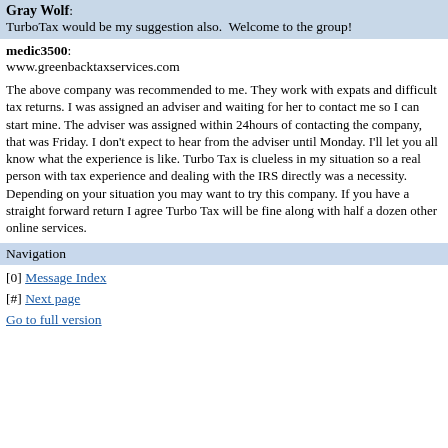Gray Wolf: TurboTax would be my suggestion also.  Welcome to the group!
medic3500: www.greenbacktaxservices.com
The above company was recommended to me. They work with expats and difficult tax returns. I was assigned an adviser and waiting for her to contact me so I can start mine. The adviser was assigned within 24hours of contacting the company, that was Friday. I don't expect to hear from the adviser until Monday. I'll let you all know what the experience is like. Turbo Tax is clueless in my situation so a real person with tax experience and dealing with the IRS directly was a necessity. Depending on your situation you may want to try this company. If you have a straight forward return I agree Turbo Tax will be fine along with half a dozen other online services.
Navigation
[0] Message Index
[#] Next page
Go to full version